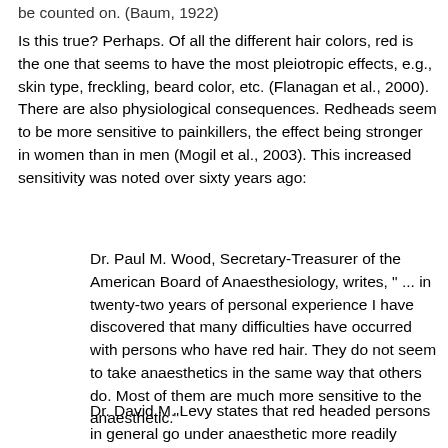be counted on. (Baum, 1922)
Is this true? Perhaps. Of all the different hair colors, red is the one that seems to have the most pleiotropic effects, e.g., skin type, freckling, beard color, etc. (Flanagan et al., 2000). There are also physiological consequences. Redheads seem to be more sensitive to painkillers, the effect being stronger in women than in men (Mogil et al., 2003). This increased sensitivity was noted over sixty years ago:
Dr. Paul M. Wood, Secretary-Treasurer of the American Board of Anaesthesiology, writes, " ... in twenty-two years of personal experience I have discovered that many difficulties have occurred with persons who have red hair. They do not seem to take anaesthetics in the same way that others do. Most of them are much more sensitive to the anaesthetic."
Dr. David M. Levy states that red headed persons in general go under anaesthetic more readily